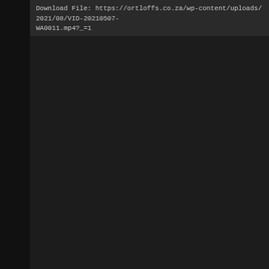Download File: https://ortloffs.co.za/wp-content/uploads/2021/08/VID-20210507-WA0011.mp4?_=1